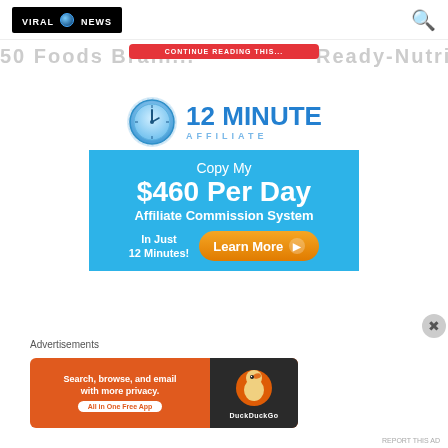VIRAL NEWS - logo and search icon
[Figure (screenshot): Red banner button partially visible at top]
[Figure (infographic): 12 Minute Affiliate advertisement with clock logo, blue banner reading 'Copy My $460 Per Day Affiliate Commission System In Just 12 Minutes! Learn More']
Advertisements
[Figure (infographic): DuckDuckGo advertisement: Search, browse, and email with more privacy. All in One Free App. DuckDuckGo logo.]